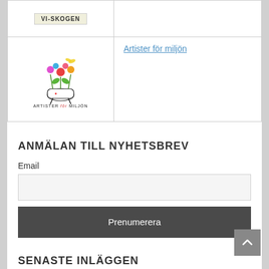| Logo | Link |
| --- | --- |
| VI-SKOGEN |  |
| Artister för miljön logo | Artister för miljön |
ANMÄLAN TILL NYHETSBREV
Email
SENASTE INLÄGGEN
Live at Heart 2022-08-29